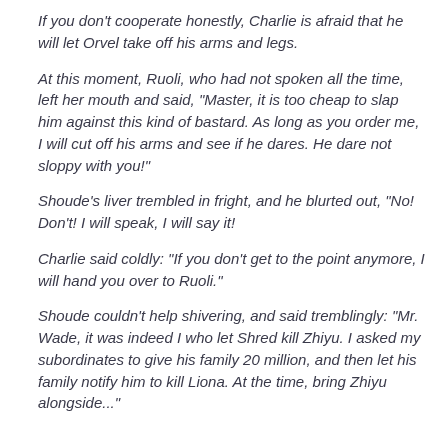If you don't cooperate honestly, Charlie is afraid that he will let Orvel take off his arms and legs.
At this moment, Ruoli, who had not spoken all the time, left her mouth and said, “Master, it is too cheap to slap him against this kind of bastard. As long as you order me, I will cut off his arms and see if he dares. He dare not sloppy with you!”
Shoude’s liver trembled in fright, and he blurted out, “No! Don’t! I will speak, I will say it!
Charlie said coldly: “If you don’t get to the point anymore, I will hand you over to Ruoli.”
Shoude couldn’t help shivering, and said tremblingly: “Mr. Wade, it was indeed I who let Shred kill Zhiyu. I asked my subordinates to give his family 20 million, and then let his family notify him to kill Liona. At the time, bring Zhiyu alongside...”